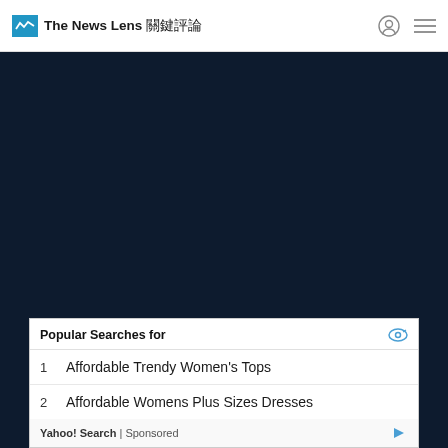The News Lens 關鍵評論
Education | Health | Politics | Lifestyle | World | Technology | Economy | Career | Military | Society | Arts & Culture | Environment
About The News Lens | Writer | Official Blog | RSS | Submission Guidelines
[Figure (screenshot): Advertisement box showing Popular Searches for with items: 1. Affordable Trendy Women's Tops, 2. Affordable Womens Plus Sizes Dresses. Yahoo! Search | Sponsored]